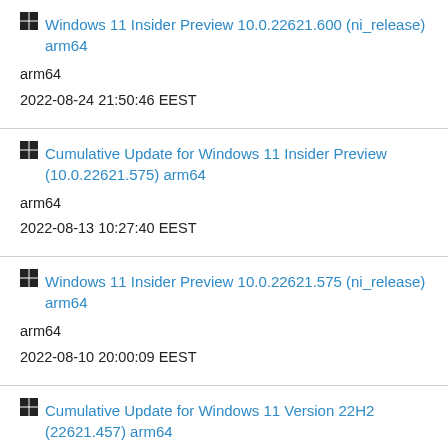Windows 11 Insider Preview 10.0.22621.600 (ni_release) arm64
arm64
2022-08-24 21:50:46 EEST
Cumulative Update for Windows 11 Insider Preview (10.0.22621.575) arm64
arm64
2022-08-13 10:27:40 EEST
Windows 11 Insider Preview 10.0.22621.575 (ni_release) arm64
arm64
2022-08-10 20:00:09 EEST
Cumulative Update for Windows 11 Version 22H2 (22621.457) arm64
arm64